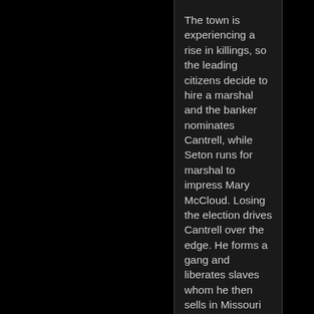The town is experiencing a rise in killings, so the leading citizens decide to hire a marshal and the banker nominates Cantrell, while Seton runs for marshal to impress Mary McCloud. Losing the election drives Cantrell over the edge. He forms a gang and liberates slaves whom he then sells in Missouri before switching to gun running, although he maintains his cover identity as a